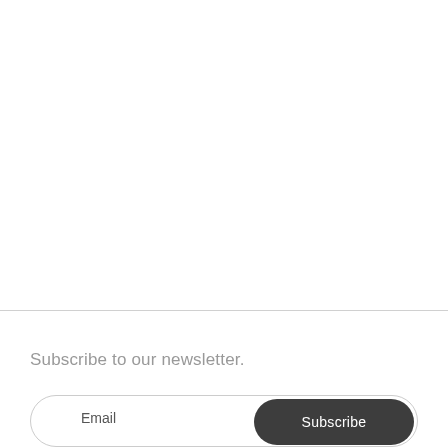Subscribe to our newsletter.
Email
Subscribe